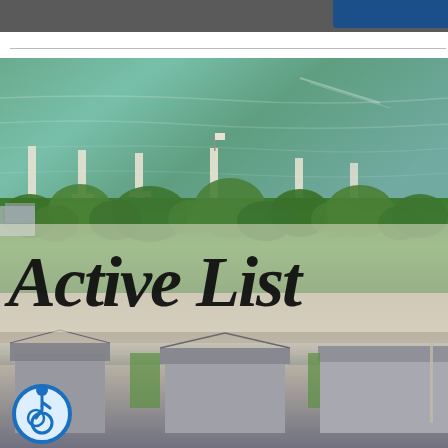[Figure (photo): Aerial drone photograph of a lakefront neighborhood showing a green-blue lake at the top with white docks extending into the water, a band of green trees in the middle, residential houses with gray and brown roofs at the bottom, and a large handwritten-style text overlay reading 'Active List' (Active Listings) in the middle of the image. A blue and white accessibility icon appears in the lower-left corner.]